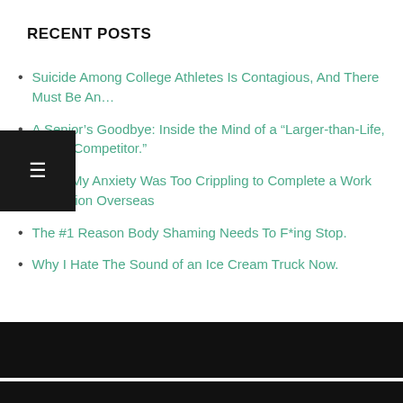RECENT POSTS
Suicide Among College Athletes Is Contagious, And There Must Be An…
A Senior's Goodbye: Inside the Mind of a “Larger-than-Life, Fierce Competitor.”
When My Anxiety Was Too Crippling to Complete a Work Obligation Overseas
The #1 Reason Body Shaming Needs To F*ing Stop.
Why I Hate The Sound of an Ice Cream Truck Now.